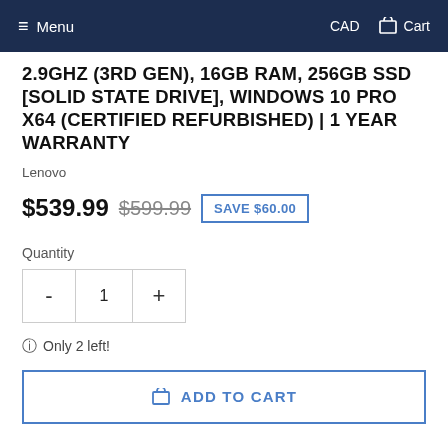Menu  CAD  Cart
2.9GHZ (3RD GEN), 16GB RAM, 256GB SSD [SOLID STATE DRIVE], WINDOWS 10 PRO X64 (CERTIFIED REFURBISHED) | 1 YEAR WARRANTY
Lenovo
$539.99  $599.99  SAVE $60.00
Quantity
1
Only 2 left!
ADD TO CART